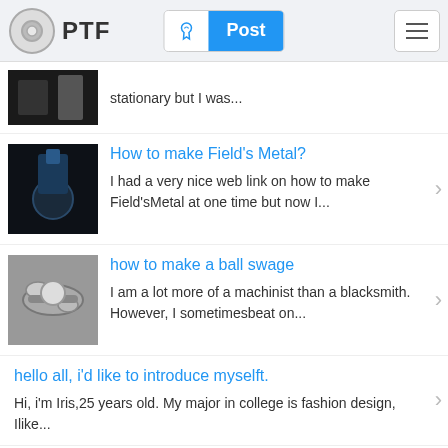PTF | Post
stationary but I was...
How to make Field's Metal?
I had a very nice web link on how to make Field'sMetal at one time but now I...
how to make a ball swage
I am a lot more of a machinist than a blacksmith. However, I sometimesbeat on...
hello all, i'd like to introduce myselft.
Hi, i'm Iris,25 years old. My major in college is fashion design, Ilike...
"Select highlighted balloon to take quantity f...
The problem with this message is usually that the 'highlighted' quantity...
Something has to be wrong here!
I am not sure I understand what to do here...